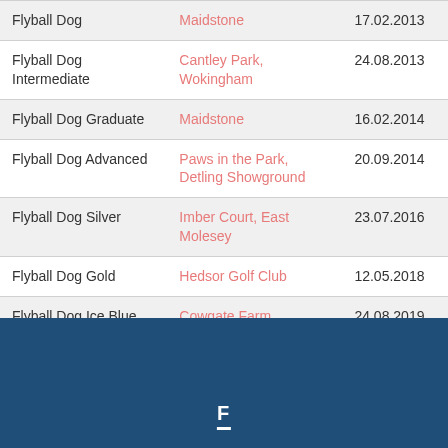| Award | Venue | Date |
| --- | --- | --- |
| Flyball Dog | Maidstone | 17.02.2013 |
| Flyball Dog Intermediate | Cantley Park, Wokingham | 24.08.2013 |
| Flyball Dog Graduate | Maidstone | 16.02.2014 |
| Flyball Dog Advanced | Paws in the Park, Detling Showground | 20.09.2014 |
| Flyball Dog Silver | Imber Court, East Molesey | 23.07.2016 |
| Flyball Dog Gold | Hedsor Golf Club | 12.05.2018 |
| Flyball Dog Ice Blue Moon | Cowgate Farm, Hawkinge | 24.08.2019 |
Footer